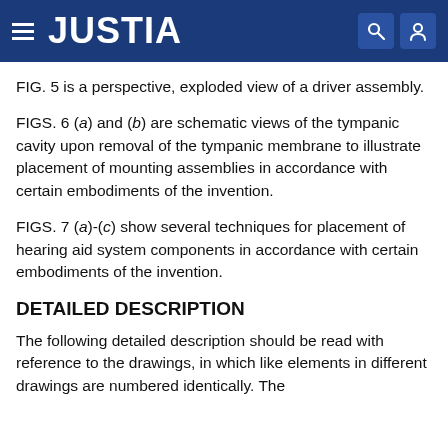JUSTIA
FIG. 5 is a perspective, exploded view of a driver assembly.
FIGS. 6 (a) and (b) are schematic views of the tympanic cavity upon removal of the tympanic membrane to illustrate placement of mounting assemblies in accordance with certain embodiments of the invention.
FIGS. 7 (a)-(c) show several techniques for placement of hearing aid system components in accordance with certain embodiments of the invention.
DETAILED DESCRIPTION
The following detailed description should be read with reference to the drawings, in which like elements in different drawings are numbered identically. The